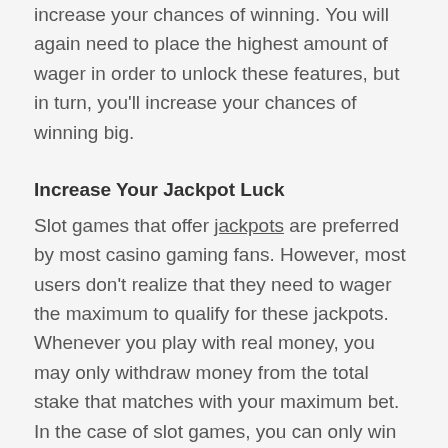increase your chances of winning. You will again need to place the highest amount of wager in order to unlock these features, but in turn, you'll increase your chances of winning big.
Increase Your Jackpot Luck
Slot games that offer jackpots are preferred by most casino gaming fans. However, most users don't realize that they need to wager the maximum to qualify for these jackpots. Whenever you play with real money, you may only withdraw money from the total stake that matches with your maximum bet. In the case of slot games, you can only win as much as you can afford to lose when it comes to the jackpot. The key to maximizing winnings is to hit multiple pay lines, which is how you make most of your money. Therefore, in order to increase your chances of hitting